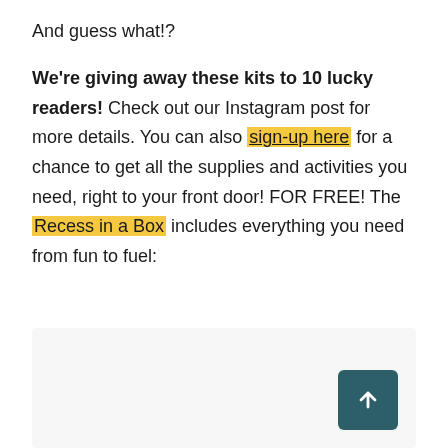And guess what!?
We're giving away these kits to 10 lucky readers! Check out our Instagram post for more details. You can also sign-up here for a chance to get all the supplies and activities you need, right to your front door! FOR FREE! The Recess in a Box includes everything you need from fun to fuel:
[Figure (other): Light grey box at the bottom of the page with a teal/dark green scroll-to-top button in the bottom right corner]